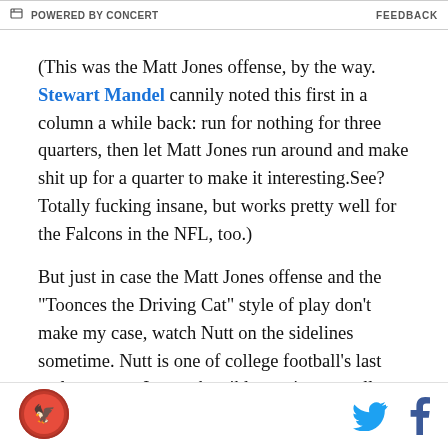POWERED BY CONCERT   FEEDBACK
(This was the Matt Jones offense, by the way. Stewart Mandel cannily noted this first in a column a while back: run for nothing for three quarters, then let Matt Jones run around and make shit up for a quarter to make it interesting.See? Totally fucking insane, but works pretty well for the Falcons in the NFL, too.)
But just in case the Matt Jones offense and the "Toonces the Driving Cat" style of play don't make my case, watch Nutt on the sidelines sometime. Nutt is one of college football's last real sweaters. I mean horrible, anxious, smells-like-fear monkey sweating with huge ovals of perspiration circling both arms
[logo] [twitter] [facebook]